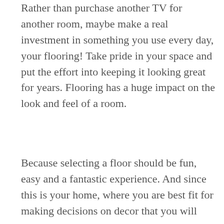Rather than purchase another TV for another room, maybe make a real investment in something you use every day, your flooring! Take pride in your space and put the effort into keeping it looking great for years. Flooring has a huge impact on the look and feel of a room.
Because selecting a floor should be fun, easy and a fantastic experience. And since this is your home, where you are best fit for making decisions on decor that you will